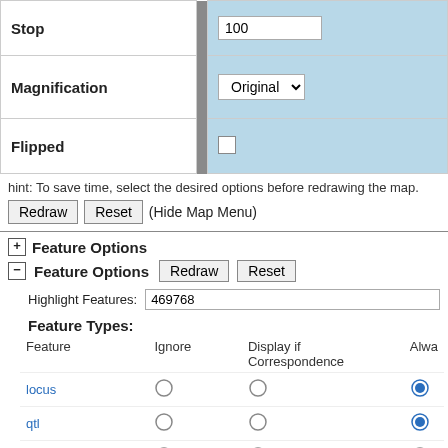|  |  |
| --- | --- |
| Stop | 100 |
| Magnification | Original ▾ |
| Flipped | ☐ |
hint: To save time, select the desired options before redrawing the map.
Redraw | Reset | (Hide Map Menu)
⊞ Feature Options
⊟ Feature Options  Redraw  Reset
Highlight Features: 469768
Feature Types:
| Feature | Ignore | Display if Correspondence | Alwa |
| --- | --- | --- | --- |
| locus | ○ | ○ | ● |
| qtl | ○ | ○ | ● |
| Other | ○ | ○ | ○ |